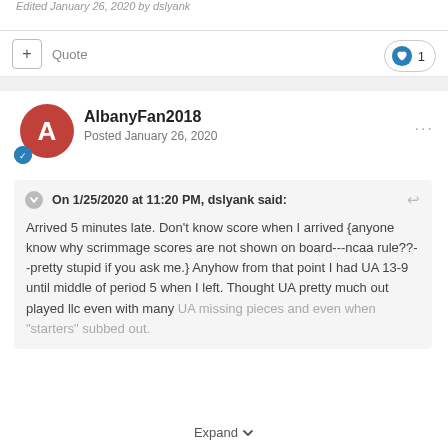Edited January 26, 2020 by dslyank
Quote  ❤ 1
AlbanyFan2018
Posted January 26, 2020
On 1/25/2020 at 11:20 PM, dslyank said:

Arrived 5 minutes late. Don't know score when I arrived {anyone know why scrimmage scores are not shown on board---ncaa rule??--pretty stupid if you ask me.} Anyhow from that point I had UA 13-9 until middle of period 5 when I left. Thought UA pretty much out played llc even with many UA missing pieces and even when "starters" subbed out.
Expand